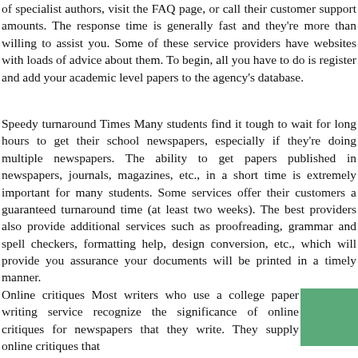of specialist authors, visit the FAQ page, or call their customer support amounts. The response time is generally fast and they're more than willing to assist you. Some of these service providers have websites with loads of advice about them. To begin, all you have to do is register and add your academic level papers to the agency's database.
Speedy turnaround Times Many students find it tough to wait for long hours to get their school newspapers, especially if they're doing multiple newspapers. The ability to get papers published in newspapers, journals, magazines, etc., in a short time is extremely important for many students. Some services offer their customers a guaranteed turnaround time (at least two weeks). The best providers also provide additional services such as proofreading, grammar and spell checkers, formatting help, design conversion, etc., which will provide you assurance your documents will be printed in a timely manner.
Online critiques Most writers who use a college paper writing service recognize the significance of online critiques for newspapers that they write. They supply online critiques that help in boosting the qualities of the newspapers and help a good deal.